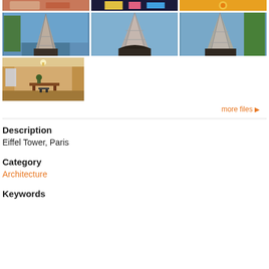[Figure (photo): Row of three thumbnail images at top: food/flowers, neon lights, circular pattern]
[Figure (photo): Three photos of Eiffel Tower from below against blue sky]
[Figure (photo): Interior room photo with chairs and table]
more files ▶
Description
Eiffel Tower, Paris
Category
Architecture
Keywords